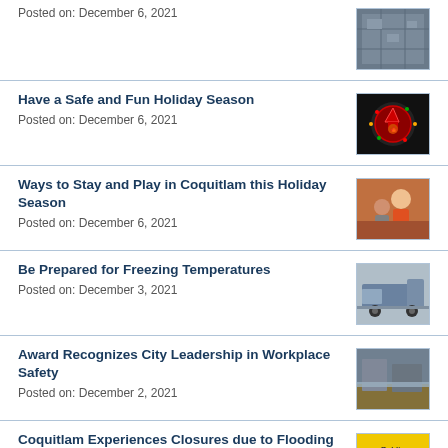Posted on: December 6, 2021
Have a Safe and Fun Holiday Season
Posted on: December 6, 2021
Ways to Stay and Play in Coquitlam this Holiday Season
Posted on: December 6, 2021
Be Prepared for Freezing Temperatures
Posted on: December 3, 2021
Award Recognizes City Leadership in Workplace Safety
Posted on: December 2, 2021
Coquitlam Experiences Closures due to Flooding